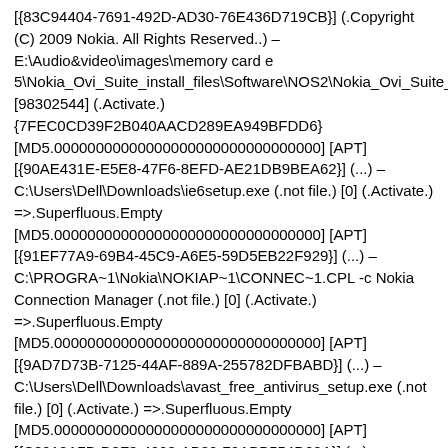[{83C94404-7691-492D-AD30-76E436D719CB}] (.Copyright (C) 2009 Nokia. All Rights Reserved..) – E:\Audio&video\images\memory card e 5\Nokia_Ovi_Suite_install_files\Software\NOS2\Nokia_Ovi_Suite_2_1_0_87_ALL.exe [98302544] (.Activate.) {7FEC0CD39F2B040AACD289EA949BFDD6} [MD5.00000000000000000000000000000000] [APT] [{90AE431E-E5E8-47F6-8EFD-AE21DB9BEA62}] (...) – C:\Users\Dell\Downloads\ie6setup.exe (.not file.) [0] (.Activate.) =>.Superfluous.Empty [MD5.00000000000000000000000000000000] [APT] [{91EF77A9-69B4-45C9-A6E5-59D5EB22F929}] (...) – C:\PROGRA~1\Nokia\NOKIAP~1\CONNEC~1.CPL -c Nokia Connection Manager (.not file.) [0] (.Activate.) =>.Superfluous.Empty [MD5.00000000000000000000000000000000] [APT] [{9AD7D73B-7125-44AF-889A-255782DFBABD}] (...) – C:\Users\Dell\Downloads\avast_free_antivirus_setup.exe (.not file.) [0] (.Activate.) =>.Superfluous.Empty [MD5.00000000000000000000000000000000] [APT] [{C2918A7B-D3F3-4003-AB30-72ABB554D28A}] (...) – C:\Users\Dell\Downloads\avast_free_antivirus_setup.exe